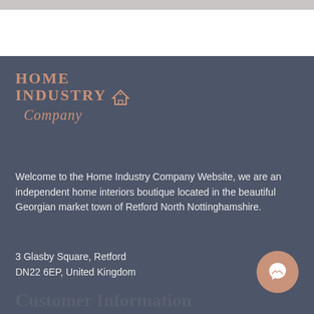[Figure (logo): Home Industry Company logo with stylized text and house icon in rose/salmon color on dark blue-grey background]
Welcome to the Home Industry Company Website, we are an independent home interiors boutique located in the beautiful Georgian market town of Retford North Nottinghamshire.
3 Glasby Square, Retford
DN22 6EP, United Kingdom
[Figure (other): Facebook Messenger chat button icon, circular, rose/salmon colored]
Customer Information